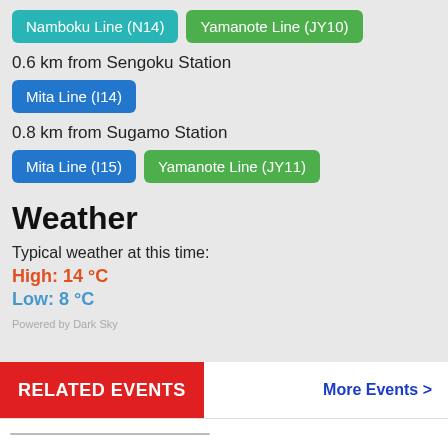Namboku Line (N14)
Yamanote Line (JY10)
0.6 km from Sengoku Station
Mita Line (I14)
0.8 km from Sugamo Station
Mita Line (I15)
Yamanote Line (JY11)
Weather
Typical weather at this time:
High: 14 °C
Low: 8 °C
Powered by Dark Sky
RELATED EVENTS
More Events >